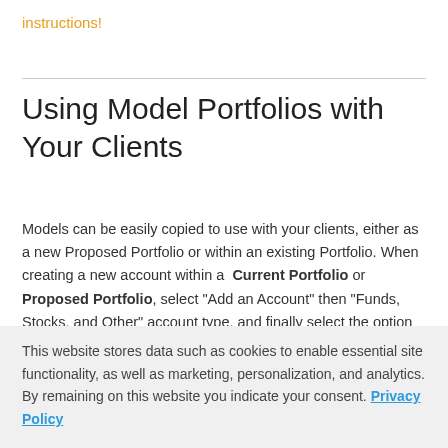instructions!
Using Model Portfolios with Your Clients
Models can be easily copied to use with your clients, either as a new Proposed Portfolio or within an existing Portfolio. When creating a new account within a Current Portfolio or Proposed Portfolio, select "Add an Account" then "Funds, Stocks, and Other" account type, and finally select the option to Copy a Model.
This website stores data such as cookies to enable essential site functionality, as well as marketing, personalization, and analytics. By remaining on this website you indicate your consent. Privacy Policy